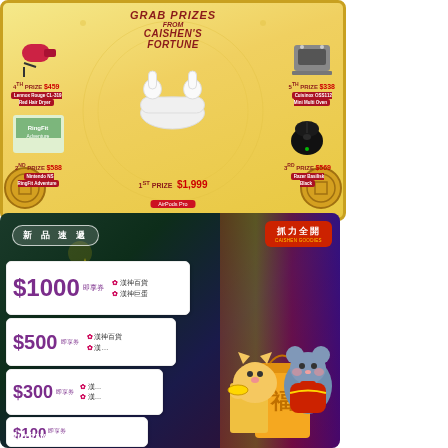[Figure (infographic): Caishen's Fortune prize grab promotional banner with yellow/gold background. Features 5 prizes: 1st Prize $1,999 AirPods Pro (center), 2nd Prize $588 Nintendo NS RingFit Adventure (left), 3rd Prize $569 Razer Basilisk Black (right), 4th Prize $459 Lennox Rouge CL-319 Red Hair Dryer (top left), 5th Prize $338 Cuisinox OSS112 Mini Multi Oven (top right). Decorative gold coins on bottom corners.]
[Figure (infographic): Mighty Shop new products promotional banner with dark background. Shows coupon tickets: $1000 instant coupon (漢神百貨, 漢神巨蛋), $500 instant coupon, $300 instant coupon, $100 instant coupon. Features cartoon cat and rat/mouse mascots in Chinese New Year outfits. Top left tag reads 新品速遞 (New Products Express). Top right red badge reads 抓力全開 (Catch 'em All). Mighty Shop logo at bottom.]